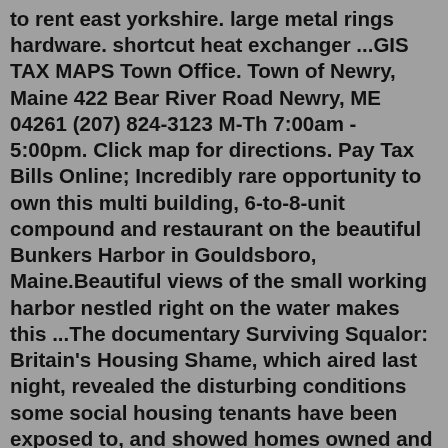to rent east yorkshire. large metal rings hardware. shortcut heat exchanger ...GIS TAX MAPS Town Office. Town of Newry, Maine 422 Bear River Road Newry, ME 04261 (207) 824-3123 M-Th 7:00am - 5:00pm. Click map for directions. Pay Tax Bills Online; Incredibly rare opportunity to own this multi building, 6-to-8-unit compound and restaurant on the beautiful Bunkers Harbor in Gouldsboro, Maine.Beautiful views of the small working harbor nestled right on the water makes this ...The documentary Surviving Squalor: Britain's Housing Shame, which aired last night, revealed the disturbing conditions some social housing tenants have been exposed to, and showed homes owned and managed by a number of councils, as well as housing associations including L&Q and Clarion.. The conditions included leaks which led to near-fatal ceiling.UNK the , . of and in " a to was is ) ( for as on by he with 's that at from his it an were are which this also be has or : had first one their its new after but also be has or : had first one their its new after but